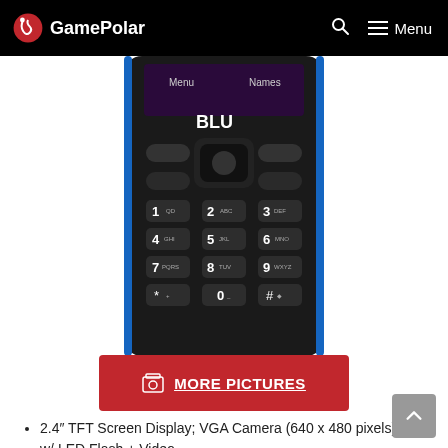GamePolar — Search — Menu
[Figure (photo): BLU brand feature phone (keypad phone) with blue trim, black body, numerical keypad, navigation keys, and a small screen showing Menu and Names options]
MORE PICTURES
2.4" TFT Screen Display; VGA Camera (640 x 480 pixels) w/ LED Flash + Video